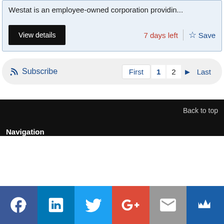Westat is an employee-owned corporation providin...
View details
7 days left
Save
Subscribe  First  1  2  ▶  Last
Back to top
Navigation
[Figure (infographic): Social media icon bar: Facebook, LinkedIn, Twitter, Google+, Email, Crown/Muck Rack icons]